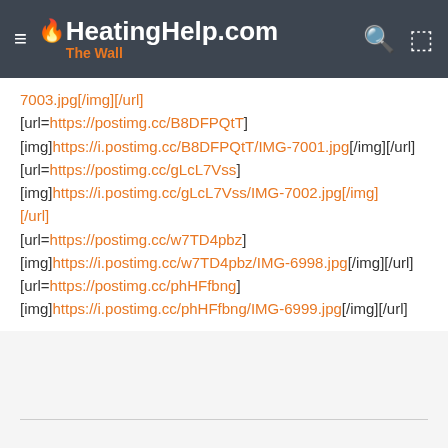HeatingHelp.com The Wall
7003.jpg[/img][/url]
[url=https://postimg.cc/B8DFPQtT] [img]https://i.postimg.cc/B8DFPQtT/IMG-7001.jpg[/img][/url]
[url=https://postimg.cc/gLcL7Vss] [img]https://i.postimg.cc/gLcL7Vss/IMG-7002.jpg[/img][/url]
[url=https://postimg.cc/w7TD4pbz] [img]https://i.postimg.cc/w7TD4pbz/IMG-6998.jpg[/img][/url]
[url=https://postimg.cc/phHFfbng] [img]https://i.postimg.cc/phHFfbng/IMG-6999.jpg[/img][/url]